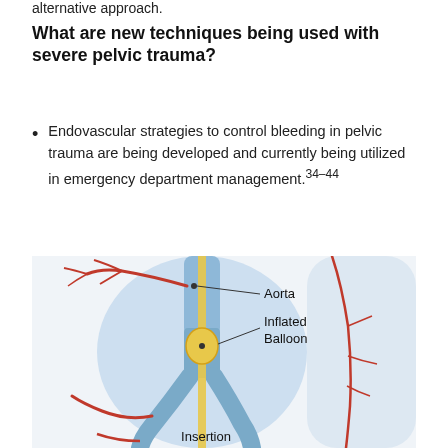alternative approach.
What are new techniques being used with severe pelvic trauma?
Endovascular strategies to control bleeding in pelvic trauma are being developed and currently being utilized in emergency department management.34–44
[Figure (illustration): Medical illustration showing the aorta with an inflated balloon catheter inserted for endovascular control of pelvic bleeding. Labels indicate: Aorta, Inflated Balloon, and Insertion point at the bottom. The figure shows a cross-section of a human torso with the aorta (blue vessel), red arterial branches, and a catheter with an inflated balloon (yellow/gold) blocking blood flow.]